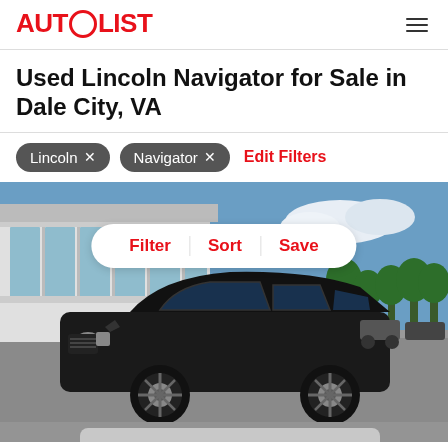AUTOLIST
Used Lincoln Navigator for Sale in Dale City, VA
Lincoln ×
Navigator ×
Edit Filters
[Figure (photo): Black Lincoln Navigator SUV parked in front of a dealership building with glass windows, blue sky and trees in background. A white pill-shaped button bar shows Filter, Sort, Save options. A heart icon is in the top right corner.]